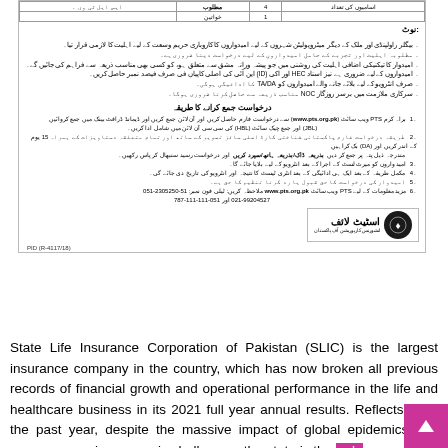[Figure (other): Urdu-language advertisement/notice from State Life Insurance Corporation of Pakistan (SLIC) with a table showing positions, a notes/instructions section, application process steps, contact information, and the State Life logo.]
State Life Insurance Corporation of Pakistan (SLIC) is the largest insurance company in the country, which has now broken all previous records of financial growth and operational performance in the life and healthcare business in its 2021 full year annual results. Reflects Over the past year, despite the massive impact of global epidemics and enormous socio-economic challenges, the state is the only government agency in the country that has been the most successful.